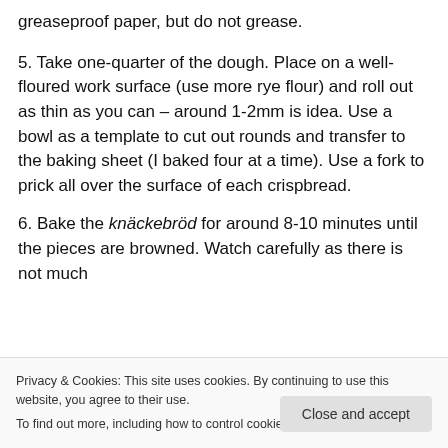greaseproof paper, but do not grease.
5. Take one-quarter of the dough. Place on a well-floured work surface (use more rye flour) and roll out as thin as you can – around 1-2mm is idea. Use a bowl as a template to cut out rounds and transfer to the baking sheet (I baked four at a time). Use a fork to prick all over the surface of each crispbread.
6. Bake the knäckebröd for around 8-10 minutes until the pieces are browned. Watch carefully as there is not much difference between undercooked and burnt.
Privacy & Cookies: This site uses cookies. By continuing to use this website, you agree to their use.
To find out more, including how to control cookies, see here: Cookie Policy
mixture.